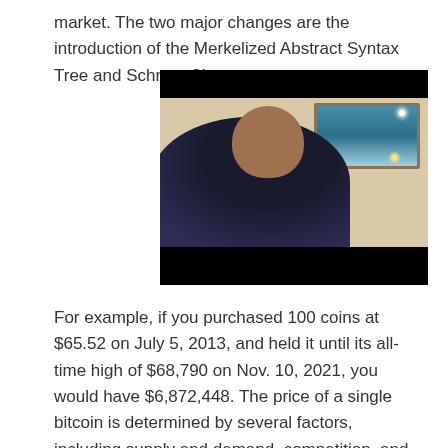market. The two major changes are the introduction of the Merkelized Abstract Syntax Tree and Schnorr Signature.
[Figure (photo): A photo of a man sitting in a chair in a room, with a painting on the wall behind him. The top and bottom of the image are obscured by black bars.]
For example, if you purchased 100 coins at $65.52 on July 5, 2013, and held it until its all-time high of $68,790 on Nov. 10, 2021, you would have $6,872,448. The price of a single bitcoin is determined by several factors, including supply and demand, competition, and its regulation. News developments also